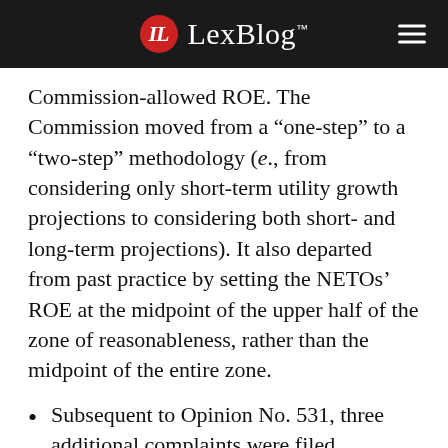LexBlog
Commission-allowed ROE. The Commission moved from a “one-step” to a “two-step” methodology (e., from considering only short-term utility growth projections to considering both short- and long-term projections). It also departed from past practice by setting the NETOs’ ROE at the midpoint of the upper half of the zone of reasonableness, rather than the midpoint of the entire zone.
Subsequent to Opinion No. 531, three additional complaints were filed